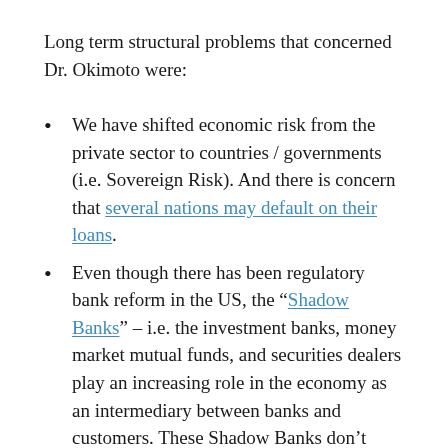Long term structural problems that concerned Dr. Okimoto were:
We have shifted economic risk from the private sector to countries / governments (i.e. Sovereign Risk). And there is concern that several nations may default on their loans.
Even though there has been regulatory bank reform in the US, the "Shadow Banks" – i.e. the investment banks, money market mutual funds, and securities dealers play an increasing role in the economy as an intermediary between banks and customers. These Shadow Banks don't have government insurance (like FDIC) but may